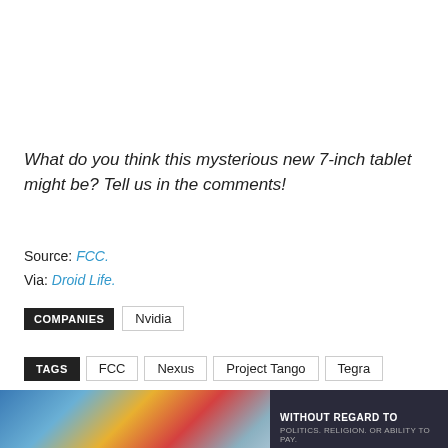What do you think this mysterious new 7-inch tablet might be? Tell us in the comments!
Source: FCC.
Via: Droid Life.
COMPANIES   Nvidia
TAGS   FCC   Nexus   Project Tango   Tegra
[Figure (photo): Advertisement banner showing an airplane being loaded with cargo on the left, and a dark background with text 'WITHOUT REGARD TO POLITICS, RELIGION, OR ABILITY TO PAY' on the right.]